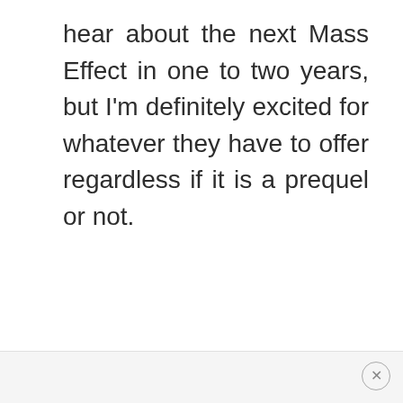hear about the next Mass Effect in one to two years, but I'm definitely excited for whatever they have to offer regardless if it is a prequel or not.